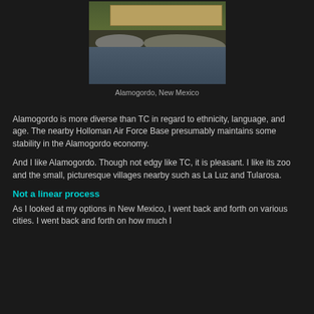[Figure (photo): A zoo scene in Alamogordo, New Mexico, showing a wooden deck/bridge, rocks with birds, and a water feature with reflections.]
Alamogordo, New Mexico
Alamogordo is more diverse than TC in regard to ethnicity, language, and age. The nearby Holloman Air Force Base presumably maintains some stability in the Alamogordo economy.
And I like Alamogordo. Though not edgy like TC, it is pleasant. I like its zoo and the small, picturesque villages nearby such as La Luz and Tularosa.
Not a linear process
As I looked at my options in New Mexico, I went back and forth on various cities. I went back and forth on how much I